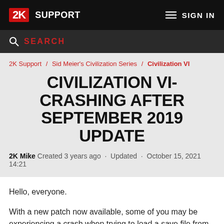2K SUPPORT | SIGN IN
SEARCH
2K Support / Sid Meier's Civilization Series / Civilization VI
CIVILIZATION VI- CRASHING AFTER SEPTEMBER 2019 UPDATE
2K Mike Created 3 years ago · Updated · October 15, 2021 14:21
Hello, everyone.
With a new patch now available, some of you may be experiencing a crash when trying to load a save file from before the update rolled out.